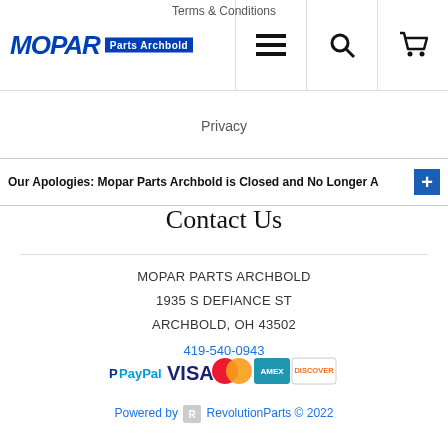MOPAR Parts Archbold — navigation header with logo and icons
Terms & Conditions
Privacy
Our Apologies: Mopar Parts Archbold is Closed and No Longer A
Contact Us
MOPAR PARTS ARCHBOLD
1935 S DEFIANCE ST
ARCHBOLD, OH 43502
419-540-0943
[Figure (other): Payment method logos: PayPal, Visa, Mastercard, American Express, Discover]
Powered by RevolutionParts © 2022